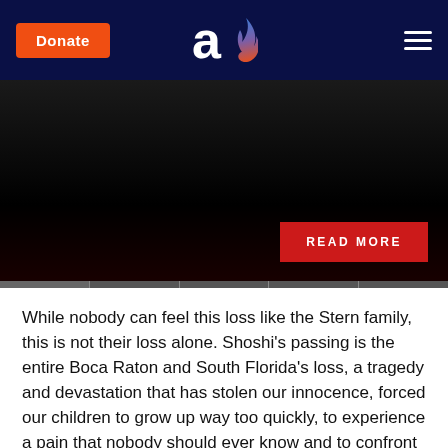Donate | [Aish logo] | [Menu]
[Figure (photo): Dark/black hero image with a red 'READ MORE' button in the lower right, and a slider navigation strip at the bottom.]
While nobody can feel this loss like the Stern family, this is not their loss alone. Shoshi's passing is the entire Boca Raton and South Florida's loss, a tragedy and devastation that has stolen our innocence, forced our children to grow up way too quickly, to experience a pain that nobody should ever know and to confront questions that simply have no answers. Our Rabbis teach: If one of the members of the community has